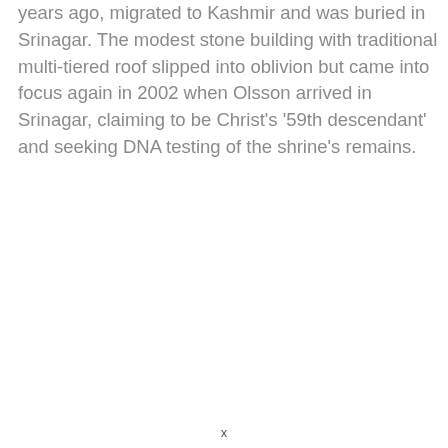years ago, migrated to Kashmir and was buried in Srinagar. The modest stone building with traditional multi-tiered roof slipped into oblivion but came into focus again in 2002 when Olsson arrived in Srinagar, claiming to be Christ's '59th descendant' and seeking DNA testing of the shrine's remains.
x